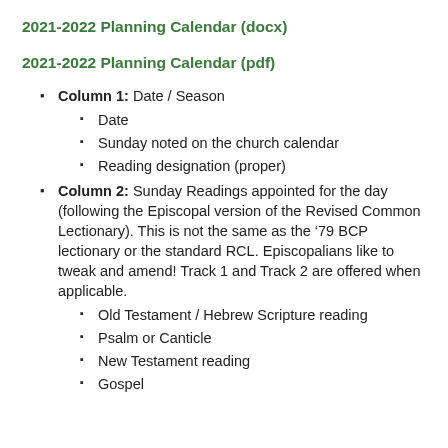2021-2022 Planning Calendar (docx)
2021-2022 Planning Calendar (pdf)
Column 1: Date / Season
Date
Sunday noted on the church calendar
Reading designation (proper)
Column 2: Sunday Readings appointed for the day (following the Episcopal version of the Revised Common Lectionary). This is not the same as the ’79 BCP lectionary or the standard RCL. Episcopalians like to tweak and amend! Track 1 and Track 2 are offered when applicable.
Old Testament / Hebrew Scripture reading
Psalm or Canticle
New Testament reading
Gospel